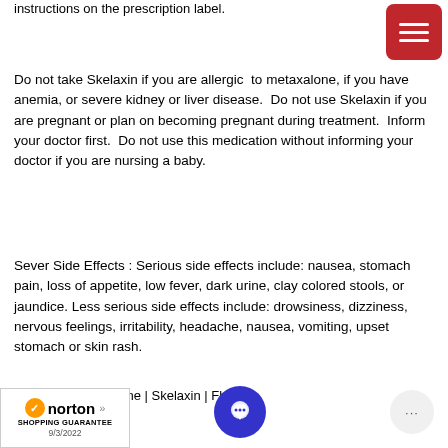instructions on the prescription label.
Do not take Skelaxin if you are allergic to metaxalone, if you have anemia, or severe kidney or liver disease.  Do not use Skelaxin if you are pregnant or plan on becoming pregnant during treatment.  Inform your doctor first.  Do not use this medication without informing your doctor if you are nursing a baby.
Sever Side Effects : Serious side effects include: nausea, stomach pain, loss of appetite, low fever, dark urine, clay colored stools, or jaundice. Less serious side effects include: drowsiness, dizziness, nervous feelings, irritability, headache, nausea, vomiting, upset stomach or skin rash.
Skelaxin | Metaxalone | Skelaxin | Flex...